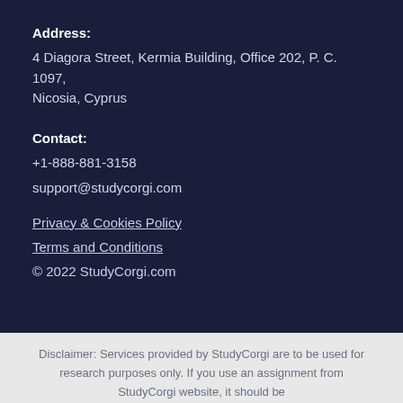Address:
4 Diagora Street, Kermia Building, Office 202, P. C. 1097, Nicosia, Cyprus
Contact:
+1-888-881-3158
support@studycorgi.com
Privacy & Cookies Policy
Terms and Conditions
© 2022 StudyCorgi.com
Disclaimer: Services provided by StudyCorgi are to be used for research purposes only. If you use an assignment from StudyCorgi website, it should be